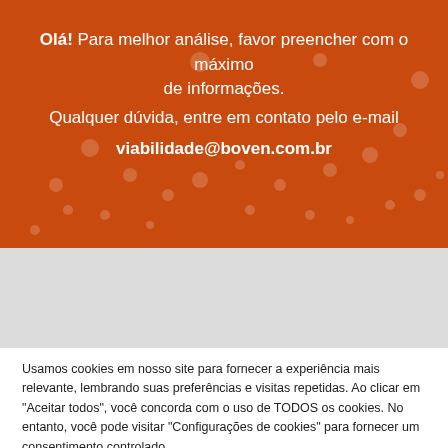Olá! Para melhor análise, favor preencher com o máximo de informações. Qualquer dúvida, entre em contato pelo e-mail viabilidade@boven.com.br
Usamos cookies em nosso site para fornecer a experiência mais relevante, lembrando suas preferências e visitas repetidas. Ao clicar em "Aceitar todos", você concorda com o uso de TODOS os cookies. No entanto, você pode visitar "Configurações de cookies" para fornecer um consentimento controlado.